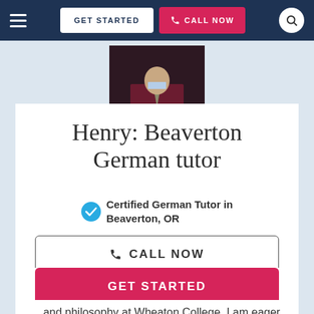GET STARTED | CALL NOW
[Figure (photo): Partial photo of tutor Henry wearing a tie against dark background]
Henry: Beaverton German tutor
Certified German Tutor in Beaverton, OR
CALL NOW
GET STARTED
...and philosophy at Wheaton College. I am eager to help you grow in your knowledge